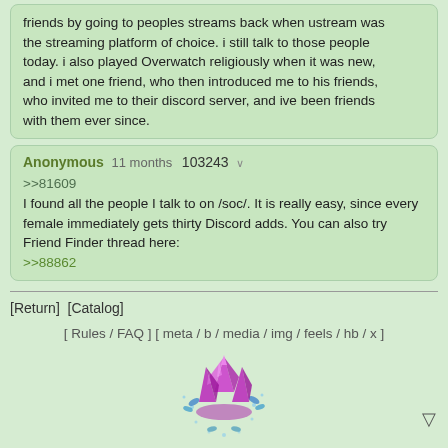friends by going to peoples streams back when ustream was the streaming platform of choice. i still talk to those people today. i also played Overwatch religiously when it was new, and i met one friend, who then introduced me to his friends, who invited me to their discord server, and ive been friends with them ever since.
Anonymous 11 months 103243 >>
>>81609
I found all the people I talk to on /soc/. It is really easy, since every female immediately gets thirty Discord adds. You can also try Friend Finder thread here:
>>88862
[Return]  [Catalog]
[ Rules / FAQ ] [ meta / b / media / img / feels / hb / x ]
[Figure (illustration): Pixel art crystal cluster with purple and pink gems and blue flowers/sparkles around it]
Style: Dark Crystal